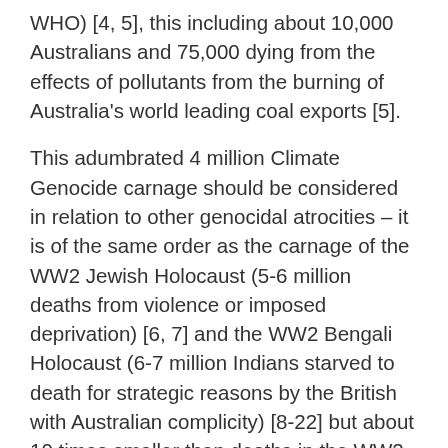WHO) [4, 5], this including about 10,000 Australians and 75,000 dying from the effects of pollutants from the burning of Australia's world leading coal exports [5].
This adumbrated 4 million Climate Genocide carnage should be considered in relation to other genocidal atrocities – it is of the same order as the carnage of the WW2 Jewish Holocaust (5-6 million deaths from violence or imposed deprivation) [6, 7] and the WW2 Bengali Holocaust (6-7 million Indians starved to death for strategic reasons by the British with Australian complicity) [8-22] but about 10 times smaller than deaths in the WW2 European Holocaust (30 million Slavs, Jews and Roma killed) [12], the WW2 Chinese